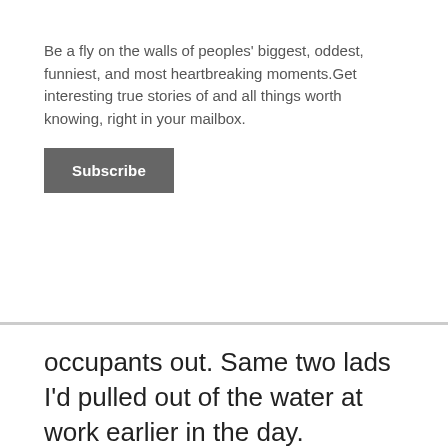Be a fly on the walls of peoples' biggest, oddest, funniest, and most heartbreaking moments.Get interesting true stories of and all things worth knowing, right in your mailbox.
Subscribe
occupants out. Same two lads I'd pulled out of the water at work earlier in the day.
drewhunter1981